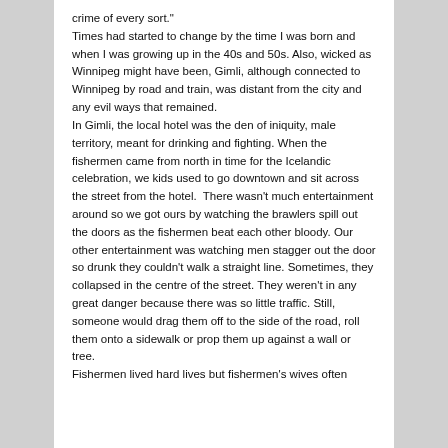crime of every sort." Times had started to change by the time I was born and when I was growing up in the 40s and 50s. Also, wicked as Winnipeg might have been, Gimli, although connected to Winnipeg by road and train, was distant from the city and any evil ways that remained. In Gimli, the local hotel was the den of iniquity, male territory, meant for drinking and fighting. When the fishermen came from north in time for the Icelandic celebration, we kids used to go downtown and sit across the street from the hotel.  There wasn't much entertainment around so we got ours by watching the brawlers spill out the doors as the fishermen beat each other bloody. Our other entertainment was watching men stagger out the door so drunk they couldn't walk a straight line. Sometimes, they collapsed in the centre of the street. They weren't in any great danger because there was so little traffic. Still, someone would drag them off to the side of the road, roll them onto a sidewalk or prop them up against a wall or tree. Fishermen lived hard lives but fishermen's wives often